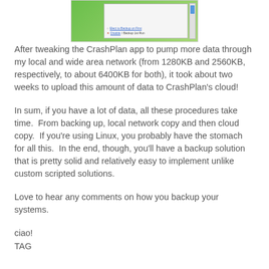[Figure (screenshot): Partial screenshot of the CrashPlan application interface showing a green panel and a dialog box with options.]
After tweaking the CrashPlan app to pump more data through my local and wide area network (from 1280KB and 2560KB, respectively, to about 6400KB for both), it took about two weeks to upload this amount of data to CrashPlan's cloud!
In sum, if you have a lot of data, all these procedures take time.  From backing up, local network copy and then cloud copy.  If you're using Linux, you probably have the stomach for all this.  In the end, though, you'll have a backup solution that is pretty solid and relatively easy to implement unlike custom scripted solutions.
Love to hear any comments on how you backup your systems.
ciao!
TAG